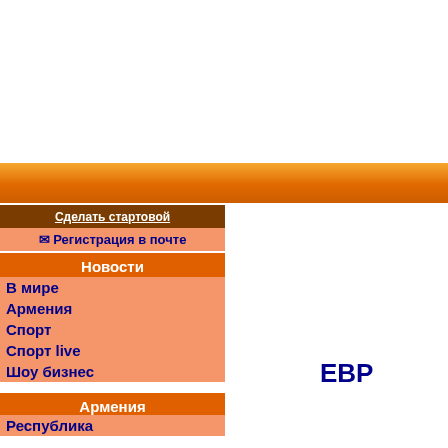[Figure (other): Orange gradient navigation bar spanning full width]
Сделать стартовой
✉ Регистрация в почте
Новости
В мире
Армения
Спорт
Спорт live
Шоу бизнес
Армения
Республика
Ереван
История
Геноцид армян
Великие сражения
Религия
Туризм
ЕВР